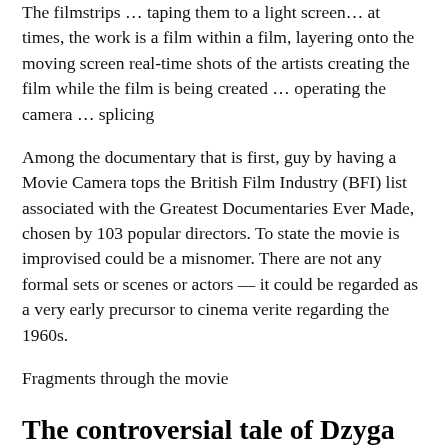The filmstrips … taping them to a light screen… at times, the work is a film within a film, layering onto the moving screen real-time shots of the artists creating the film while the film is being created … operating the camera … splicing
Among the documentary that is first, guy by having a Movie Camera tops the British Film Industry (BFI) list associated with the Greatest Documentaries Ever Made, chosen by 103 popular directors. To state the movie is improvised could be a misnomer. There are not any formal sets or scenes or actors — it could be regarded as a very early precursor to cinema verite regarding the 1960s.
Fragments through the movie
The controversial tale of Dzyga Vertov
The tale of Dzyga Vertov along with his work states a whole lot concerning the Soviet governmental and social truth